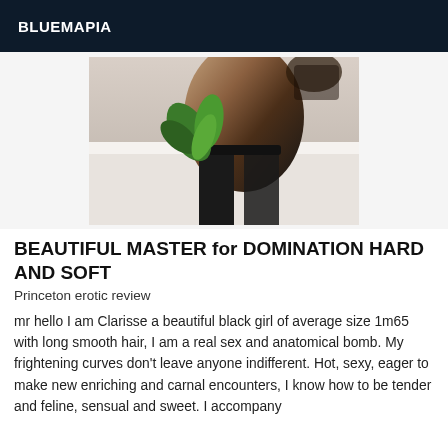BLUEMAPIA
[Figure (photo): A person wearing dark lingerie and stockings posing near a bathtub with a green plant visible]
BEAUTIFUL MASTER for DOMINATION HARD AND SOFT
Princeton erotic review
mr hello I am Clarisse a beautiful black girl of average size 1m65 with long smooth hair, I am a real sex and anatomical bomb. My frightening curves don't leave anyone indifferent. Hot, sexy, eager to make new enriching and carnal encounters, I know how to be tender and feline, sensual and sweet. I accompany